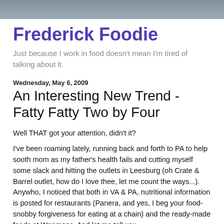[Figure (photo): Header banner image, dark grayish-blue photo strip at top of blog page]
Frederick Foodie
Just because I work in food doesn't mean I'm tired of talking about it.
Wednesday, May 6, 2009
An Interesting New Trend - Fatty Fatty Two by Four
Well THAT got your attention, didn't it?
I've been roaming lately, running back and forth to PA to help sooth mom as my father's health fails and cutting myself some slack and hitting the outlets in Leesburg (oh Crate & Barrel outlet, how do I love thee, let me count the ways...). Anywho, I noticed that both in VA & PA, nutritional information is posted for restaurants (Panera, and yes, I beg your food-snobby forgiveness for eating at a chain) and the ready-made foods at Wegmans. And let me tell you...